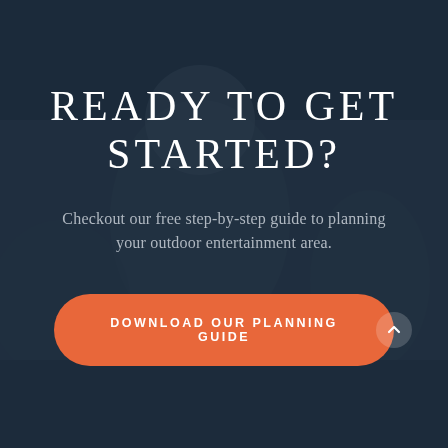[Figure (photo): Dark overlay photo of people dining outdoors, semi-transparent dark blue-gray overlay]
READY TO GET STARTED?
Checkout our free step-by-step guide to planning your outdoor entertainment area.
DOWNLOAD OUR PLANNING GUIDE